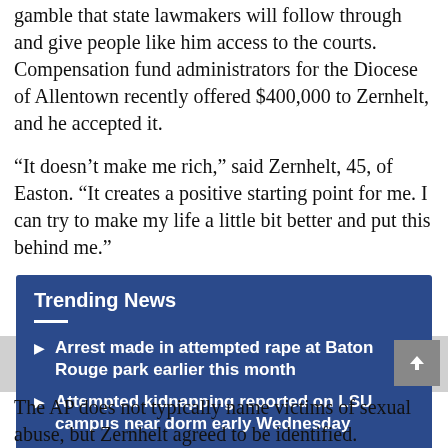gamble that state lawmakers will follow through and give people like him access to the courts. Compensation fund administrators for the Diocese of Allentown recently offered $400,000 to Zernhelt, and he accepted it.
“It doesn’t make me rich,” said Zernhelt, 45, of Easton. “It creates a positive starting point for me. I can try to make my life a little bit better and put this behind me.”
Trending News
Arrest made in attempted rape at Baton Rouge park earlier this month
Attempted kidnapping reported on LSU campus near dorm early Wednesday
The AP does not typically name victims of sexual abuse, but Zernhelt agreed to be identified.